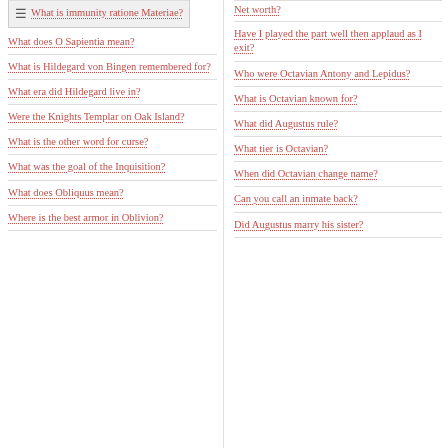What is immunity ratione Materiae?
What does O Sapientia mean?
What is Hildegard von Bingen remembered for?
What era did Hildegard live in?
Were the Knights Templar on Oak Island?
What is the other word for curse?
What was the goal of the Inquisition?
What does Obliquus mean?
Where is the best armor in Oblivion?
Net worth?
Have I played the part well then applaud as I exit?
Who were Octavian Antony and Lepidus?
What is Octavian known for?
What did Augustus rule?
What tier is Octavian?
When did Octavian change name?
Can you call an inmate back?
Did Augustus marry his sister?